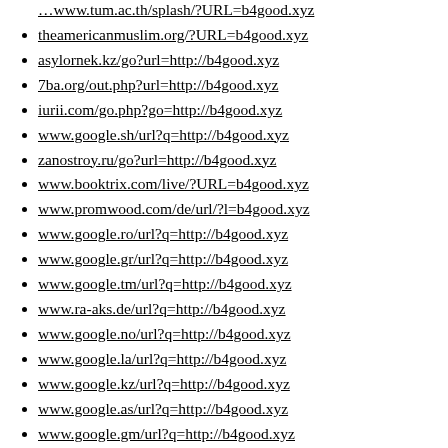www.tum.ac.th/splash/?URL=b4good.xyz (partial, top)
theamericanmuslim.org/?URL=b4good.xyz
asylornek.kz/go?url=http://b4good.xyz
7ba.org/out.php?url=http://b4good.xyz
iurii.com/go.php?go=http://b4good.xyz
www.google.sh/url?q=http://b4good.xyz
zanostroy.ru/go?url=http://b4good.xyz
www.booktrix.com/live/?URL=b4good.xyz
www.promwood.com/de/url/?l=b4good.xyz
www.google.ro/url?q=http://b4good.xyz
www.google.gr/url?q=http://b4good.xyz
www.google.tm/url?q=http://b4good.xyz
www.ra-aks.de/url?q=http://b4good.xyz
www.google.no/url?q=http://b4good.xyz
www.google.la/url?q=http://b4good.xyz
www.google.kz/url?q=http://b4good.xyz
www.google.as/url?q=http://b4good.xyz
www.google.gm/url?q=http://b4good.xyz
www.civicvoice.org.uk/?URL=b4good.xyz
(partial bottom url)